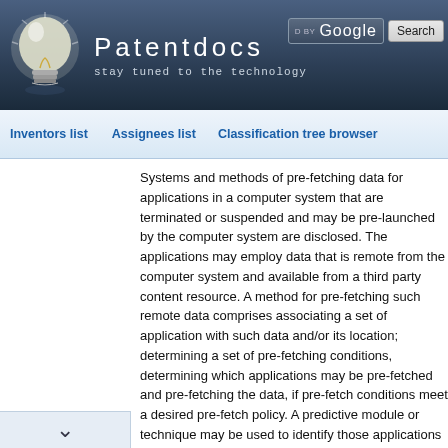[Figure (logo): Patentdocs website header with lightbulb logo, site name 'Patentdocs', tagline 'stay tuned to the technology', and Google search box]
Inventors list   Assignees list   Classification tree browser
Systems and methods of pre-fetching data for applications in a computer system that are terminated or suspended and may be pre-launched by the computer system are disclosed. The applications may employ data that is remote from the computer system and available from a third party content resource. A method for pre-fetching such remote data comprises associating a set of application with such data and/or its location; determining a set of pre-fetching conditions, determining which applications may be pre-fetched and pre-fetching the data, if pre-fetch conditions meet a desired pre-fetch policy. A predictive module or technique may be used to identify those applications which may be pre-launched. The present system may comprise a pre-fetch success module capable of measuring the success data for a current pre-fetch and associating such success data with an application to improve future pre-fetches.